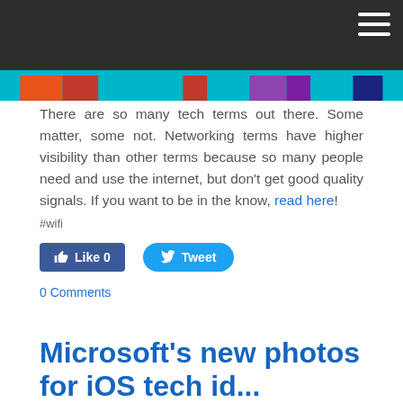[Figure (photo): Top banner image showing a dark background with colorful horizontal stripes (orange, red, teal, purple, navy) and a hamburger menu icon in the top right corner.]
There are so many tech terms out there. Some matter, some not. Networking terms have higher visibility than other terms because so many people need and use the internet, but don't get good quality signals. If you want to be in the know, read here!
#wifi
Like 0   Tweet
0 Comments
Microsoft's new photos for iOStech id...